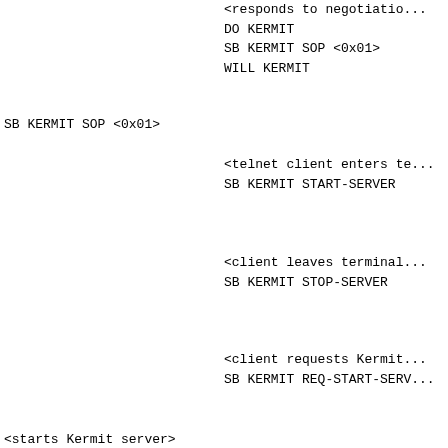<responds to negotiation>
DO KERMIT
SB KERMIT SOP <0x01>
WILL KERMIT
SB KERMIT SOP <0x01>
<telnet client enters te...
SB KERMIT START-SERVER
<client leaves terminal...
SB KERMIT STOP-SERVER
<client requests Kermit...
SB KERMIT REQ-START-SERV...
<starts Kermit server>
SB KERMIT RESP-START-SERVER
<client sends Kermit FIN...
<stops Kermit server>
SB KERMIT STOP-SERVER
<client returns to termi...
SB KERMIT START-SERVER